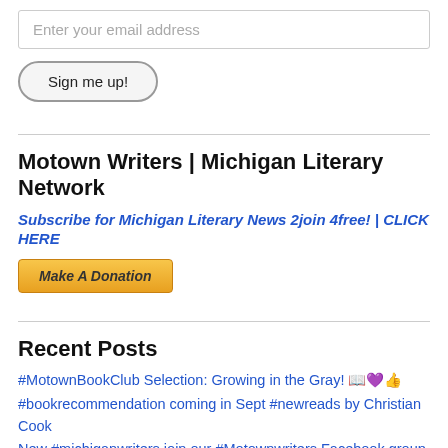Enter your email address
Sign me up!
Motown Writers | Michigan Literary Network
Subscribe for Michigan Literary News 2join 4free! | CLICK HERE
[Figure (other): Make A Donation button (PayPal-style golden button)]
Recent Posts
#MotownBookClub Selection: Growing in the Gray! 📖💜👍
#bookrecommendation coming in Sept #newreads by Christian Cook
New #michiganwriters join our #Motownwriters Facebook group #michlit | bring your literary challenges and success, announcements, news and